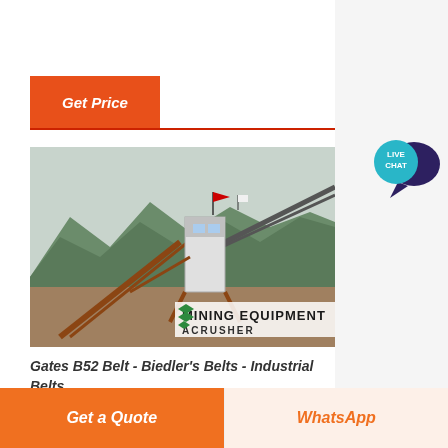Get Price
[Figure (photo): Mining equipment facility with conveyor belts and industrial structures against a mountain backdrop. A white tower/control room with a red flag on top. Overlay text shows 'MINING EQUIPMENT' and 'ACRUSHER' logos in green on white banner.]
Gates B52 Belt - Biedler's Belts - Industrial Belts
[Figure (illustration): Live Chat speech bubble icon — teal/cyan circle with 'LIVE CHAT' text and a dark purple speech bubble shape]
Get a Quote
WhatsApp